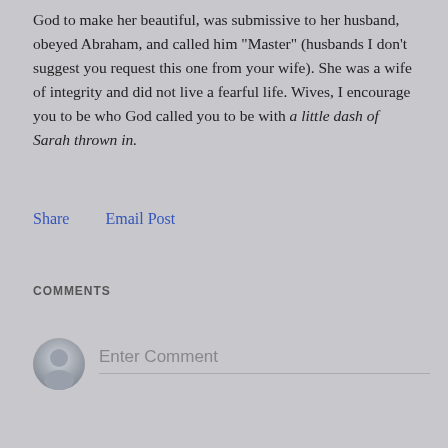God to make her beautiful, was submissive to her husband, obeyed Abraham, and called him "Master" (husbands I don't suggest you request this one from your wife).  She was a wife of integrity and did not live a fearful life.  Wives, I encourage you to be who God called you to be with a little dash of Sarah thrown in.
Share    Email Post
COMMENTS
Enter Comment